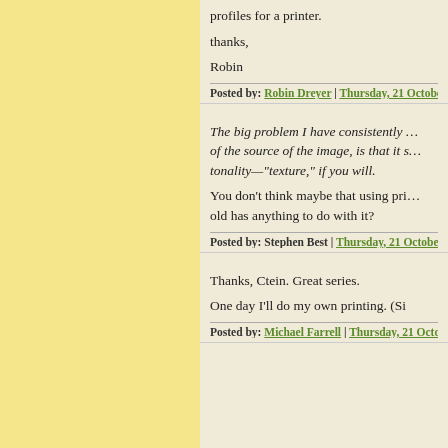profiles for a printer.
thanks,
Robin
Posted by: Robin Dreyer | Thursday, 21 October 2010
The big problem I have consistently ... of the source of the image, is that it s... tonality—"texture," if you will.
You don't think maybe that using pri... old has anything to do with it?
Posted by: Stephen Best | Thursday, 21 October 2010
Thanks, Ctein. Great series.
One day I'll do my own printing. (Si
Posted by: Michael Farrell | Thursday, 21 October 201